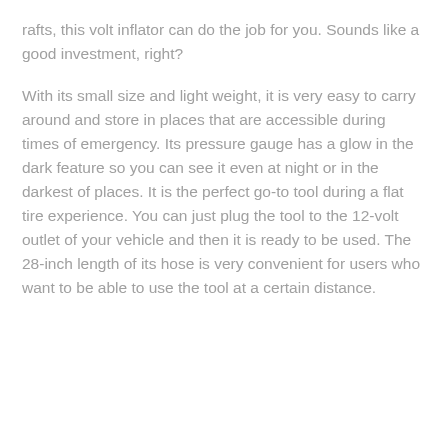rafts, this volt inflator can do the job for you. Sounds like a good investment, right?
With its small size and light weight, it is very easy to carry around and store in places that are accessible during times of emergency. Its pressure gauge has a glow in the dark feature so you can see it even at night or in the darkest of places. It is the perfect go-to tool during a flat tire experience. You can just plug the tool to the 12-volt outlet of your vehicle and then it is ready to be used. The 28-inch length of its hose is very convenient for users who want to be able to use the tool at a certain distance.